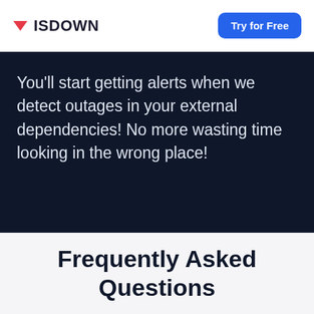ISDOWN | Try for Free
You'll start getting alerts when we detect outages in your external dependencies! No more wasting time looking in the wrong place!
Frequently Asked Questions